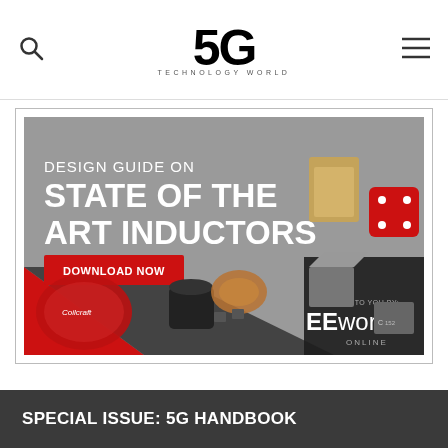5G Technology World
[Figure (advertisement): Design Guide on State of the Art Inductors – Download Now. Coilcraft inductors advertisement brought to you by EEworld Online. Shows various inductor components on a gray background with a red triangle accent.]
SPECIAL ISSUE: 5G HANDBOOK